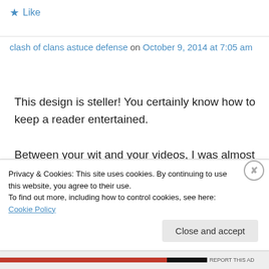★ Like
clash of clans astuce defense on October 9, 2014 at 7:05 am
This design is steller! You certainly know how to keep a reader entertained. Between your wit and your videos, I was almost moved to start my own blog (well, almost…HaHa!) Fantastic job. I really loved what
Privacy & Cookies: This site uses cookies. By continuing to use this website, you agree to their use.
To find out more, including how to control cookies, see here: Cookie Policy
Close and accept